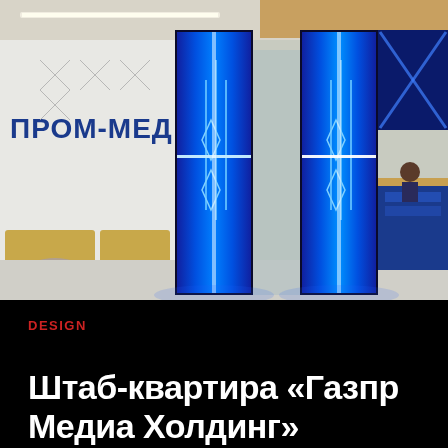[Figure (photo): Interior of a modern corporate lobby/reception area with illuminated blue cylindrical columns displaying digital patterns and geometric designs. The reception desk is also lit in blue. On the left, partial signage reading 'ПРОМ-МЕД' is visible on a white wall with a geometric logo. Seating area with beige sofas and a person at the reception desk.]
DESIGN
Штаб-квартира «Газпр Медиа Холдинг»